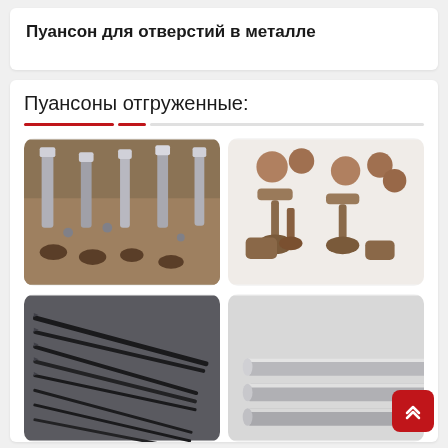Пуансон для отверстий в металле
Пуансоны отгруженные:
[Figure (photo): Multiple metal punches/pins inserted in a wooden block holder]
[Figure (photo): Metal punch tools with T-shaped heads and cylindrical bases arranged on white background]
[Figure (photo): Collection of thin black metal drill bits/punches laid out on gray surface]
[Figure (photo): Cylindrical metal rods/punches in light gray color, partially visible]